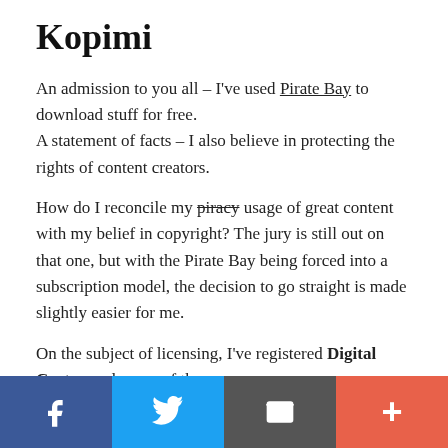Kopimi
An admission to you all – I've used Pirate Bay to download stuff for free.
A statement of facts – I also believe in protecting the rights of content creators.
How do I reconcile my piracy usage of great content with my belief in copyright? The jury is still out on that one, but with the Pirate Bay being forced into a subscription model, the decision to go straight is made slightly easier for me.
On the subject of licensing, I've registered Digital Cortex under one of these:
[Figure (infographic): Social sharing footer bar with four buttons: Facebook (dark blue, f icon), Twitter (light blue, bird icon), Email/envelope (dark grey, envelope icon), Plus/more (coral/orange-red, + icon)]